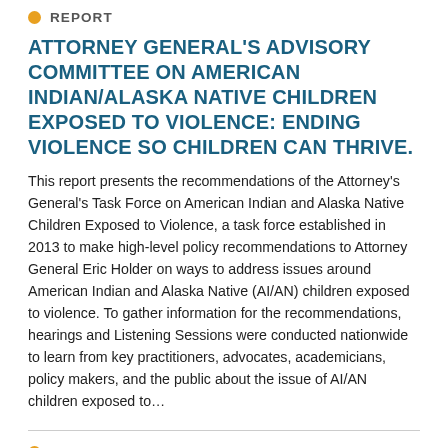REPORT
ATTORNEY GENERAL'S ADVISORY COMMITTEE ON AMERICAN INDIAN/ALASKA NATIVE CHILDREN EXPOSED TO VIOLENCE: ENDING VIOLENCE SO CHILDREN CAN THRIVE.
This report presents the recommendations of the Attorney's General's Task Force on American Indian and Alaska Native Children Exposed to Violence, a task force established in 2013 to make high-level policy recommendations to Attorney General Eric Holder on ways to address issues around American Indian and Alaska Native (AI/AN) children exposed to violence. To gather information for the recommendations, hearings and Listening Sessions were conducted nationwide to learn from key practitioners, advocates, academicians, policy makers, and the public about the issue of AI/AN children exposed to…
REPORT